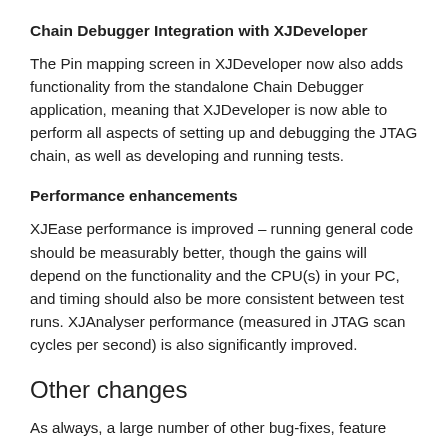Chain Debugger Integration with XJDeveloper
The Pin mapping screen in XJDeveloper now also adds functionality from the standalone Chain Debugger application, meaning that XJDeveloper is now able to perform all aspects of setting up and debugging the JTAG chain, as well as developing and running tests.
Performance enhancements
XJEase performance is improved – running general code should be measurably better, though the gains will depend on the functionality and the CPU(s) in your PC, and timing should also be more consistent between test runs. XJAnalyser performance (measured in JTAG scan cycles per second) is also significantly improved.
Other changes
As always, a large number of other bug-fixes, feature